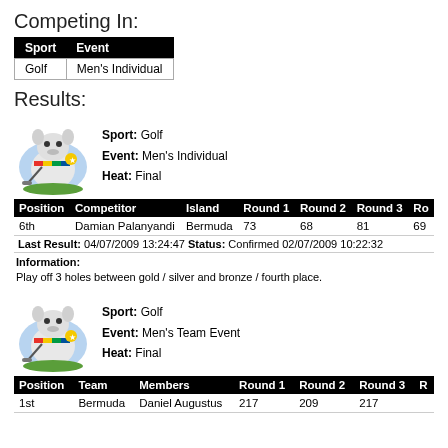Competing In:
| Sport | Event |
| --- | --- |
| Golf | Men's Individual |
Results:
[Figure (illustration): Cartoon mascot of a golf-playing hippo with a rainbow sash]
Sport: Golf  Event: Men's Individual  Heat: Final
| Position | Competitor | Island | Round 1 | Round 2 | Round 3 | Ro... |
| --- | --- | --- | --- | --- | --- | --- |
| 6th | Damian Palanyandi | Bermuda | 73 | 68 | 81 | 69 |
Last Result: 04/07/2009 13:24:47 Status: Confirmed 02/07/2009 10:22:32
Information:
Play off 3 holes between gold / silver and bronze / fourth place.
[Figure (illustration): Cartoon mascot of a golf-playing hippo with a rainbow sash]
Sport: Golf  Event: Men's Team Event  Heat: Final
| Position | Team | Members | Round 1 | Round 2 | Round 3 | R... |
| --- | --- | --- | --- | --- | --- | --- |
| 1st | Bermuda | Daniel Augustus | 217 | 209 | 217 |